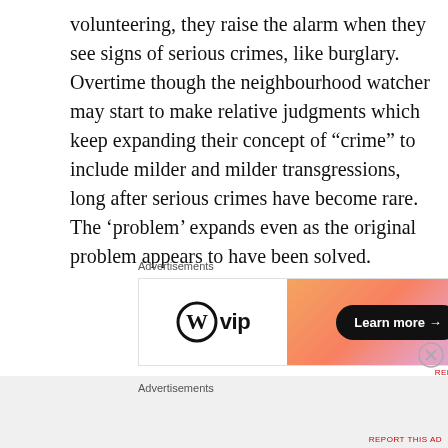volunteering, they raise the alarm when they see signs of serious crimes, like burglary. Overtime though the neighbourhood watcher may start to make relative judgments which keep expanding their concept of “crime” to include milder and milder transgressions, long after serious crimes have become rare. The ‘problem’ expands even as the original problem appears to have been solved.
[Figure (other): Advertisement banner for WordPress VIP showing the WordPress logo with 'vip' text on the left white panel and an orange-pink gradient on the right with a 'Learn more →' button]
Advertisements
Advertisements